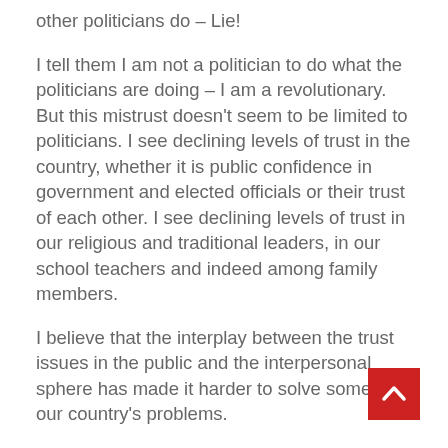other politicians do – Lie!
I tell them I am not a politician to do what the politicians are doing – I am a revolutionary. But this mistrust doesn't seem to be limited to politicians. I see declining levels of trust in the country, whether it is public confidence in government and elected officials or their trust of each other. I see declining levels of trust in our religious and traditional leaders, in our school teachers and indeed among family members.
I believe that the interplay between the trust issues in the public and the interpersonal sphere has made it harder to solve some of our country's problems.
However, my greatest worry is that the capacity of leaders to implement policies depends crucially on trust. With trust in politicians, governments and institutions, support for the necessary revolutionary changes becomes difficult